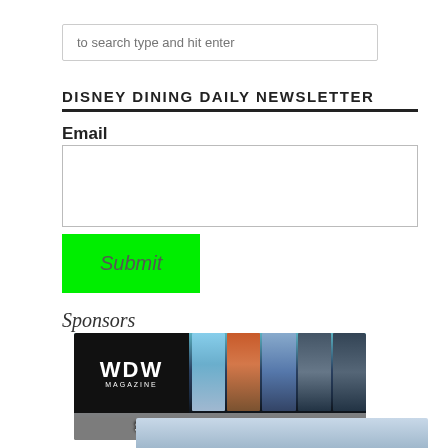to search type and hit enter
DISNEY DINING DAILY NEWSLETTER
Email
Submit
Sponsors
[Figure (illustration): WDW Magazine advertisement showing logo and magazine covers with text SUBSCRIBE TODAY!]
[Figure (photo): Partial image at bottom of page, partially visible]